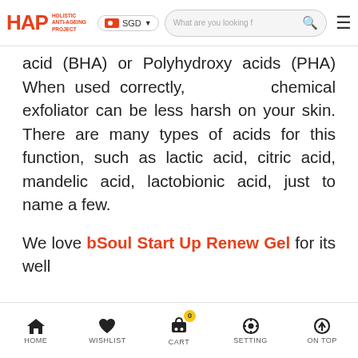HAP Holistic Anti-Ageing Project | SGD | Search bar | Menu
acid (BHA) or Polyhydroxy acids (PHA) When used correctly, chemical exfoliator can be less harsh on your skin. There are many types of acids for this function, such as lactic acid, citric acid, mandelic acid, lactobionic acid, just to name a few.
We love bSoul Start Up Renew Gel for its well
HOME | WISHLIST | CART 0 | SETTING | ON TOP